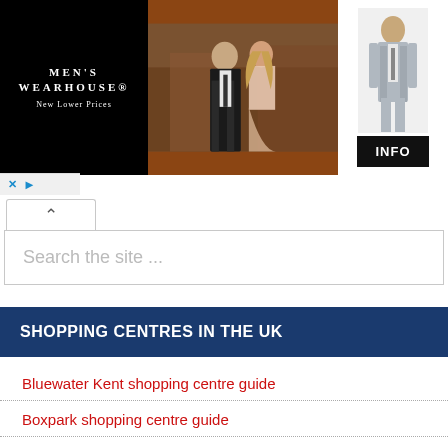[Figure (screenshot): Men's Wearhouse advertisement banner with logo on black background on left, couple in formal wear in center, man in grey suit on right with INFO button]
[Figure (screenshot): Search bar UI with collapse arrow button and 'Search the site ...' placeholder text]
SHOPPING CENTRES IN THE UK
Bluewater Kent shopping centre guide
Boxpark shopping centre guide
Bullring Birmingham shopping centre guide
Connah's Quay shopping centre guide